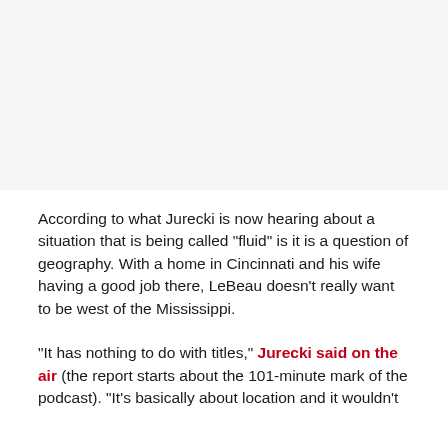[Figure (photo): Image placeholder at top of page (appears to be a photo, content not visible)]
According to what Jurecki is now hearing about a situation that is being called "fluid" is it is a question of geography. With a home in Cincinnati and his wife having a good job there, LeBeau doesn't really want to be west of the Mississippi.
"It has nothing to do with titles," Jurecki said on the air (the report starts about the 101-minute mark of the podcast). "It's basically about location and it wouldn't